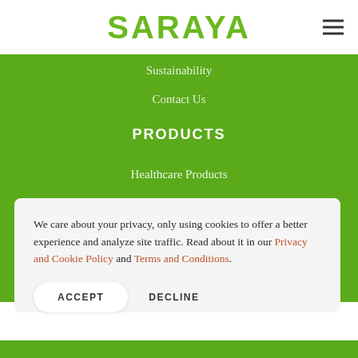SARAYA
Sustainability
Contact Us
PRODUCTS
Healthcare Products
We care about your privacy, only using cookies to offer a better experience and analyze site traffic. Read about it in our Privacy and Cookie Policy and Terms and Conditions.
ACCEPT
DECLINE